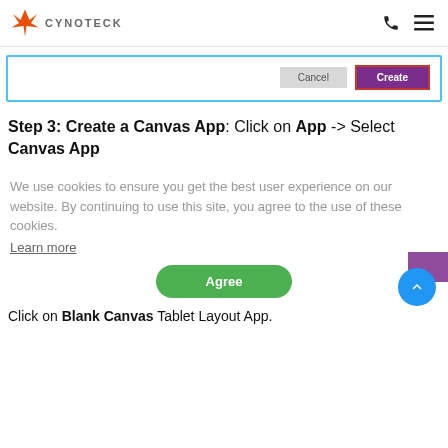CYNOTECK
[Figure (screenshot): Dialog with Cancel and Create buttons. Cancel is a gray button, Create is a purple button with red border.]
Step 3: Create a Canvas App: Click on App -> Select Canvas App
We use cookies to ensure you get the best user experience on our website. By continuing to use this site, you agree to the use of these cookies. Learn more
Agree
Click on Blank Canvas Tablet Layout App.